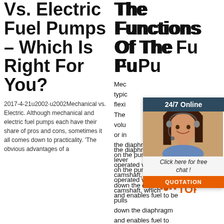Vs. Electric Fuel Pumps – Which Is Right For You?
2017-4-21u2002·u2002Mechanical vs. Electric. Although mechanical and electric fuel pumps each have their share of pros and cons, sometimes it all comes down to practicality. 'The obvious advantages of a
The Functions Of The Fuel Pump
Mechanical fuel pumps typically use a flexible diaphragm. The changing volume of fuel or intake expands the diaphragm. A lever on the pump is operated via the camshaft, which pulls down the diaphragm and enables fuel to be
[Figure (photo): Chat widget overlay showing a woman with headset (customer service agent), dark teal header reading '24/7 Online', orange 'QUOTATION' button, and italic text 'Click here for free chat!']
[Figure (logo): TOP logo watermark with orange dot pattern]